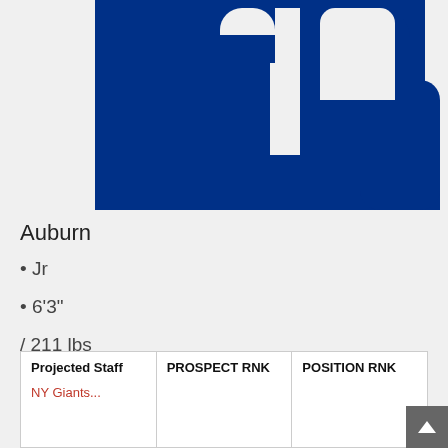[Figure (logo): Large navy blue NY Giants-style logo/number on white background, cropped at edges]
Auburn
• Jr
• 6'3"
/ 211 lbs
| Projected Staff | PROSPECT RNK | POSITION RNK |
| --- | --- | --- |
| NY Giants... | ... | ... |